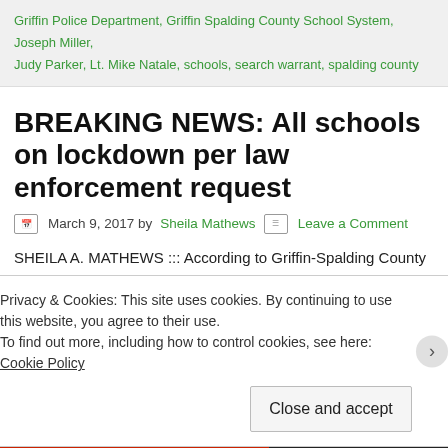Griffin Police Department, Griffin Spalding County School System, Joseph Miller, Judy Parker, Lt. Mike Natale, schools, search warrant, spalding county
BREAKING NEWS: All schools on lockdown per law enforcement request
March 9, 2017 by Sheila Mathews  Leave a Comment
SHEILA A. MATHEWS ::: According to Griffin-Spalding County Communications Director Judy Parker, all schools have been placed on lock down following a request from local law enforcement officials. "All schools are under lockdown per request of the Sheriff. They're pursuing someone in the community and they asked us to put all schools on lockdown."
Privacy & Cookies: This site uses cookies. By continuing to use this website, you agree to their use.
To find out more, including how to control cookies, see here: Cookie Policy
Close and accept